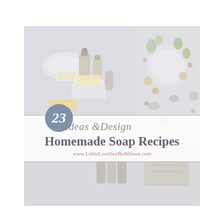[Figure (photo): Cover image collage: left side shows homemade soap bars, small bottles and a dish on a light background; right side shows botanical flat lay with herbs, flowers and slices of fruits/vegetables on white; bottom strip shows additional soap and craft imagery. Overlaid with a title box containing '23 Ideas & Design Homemade Soap Recipes' and website URL.]
23 Ideas & Design Homemade Soap Recipes
www.LittleLoveliesByAllison.com